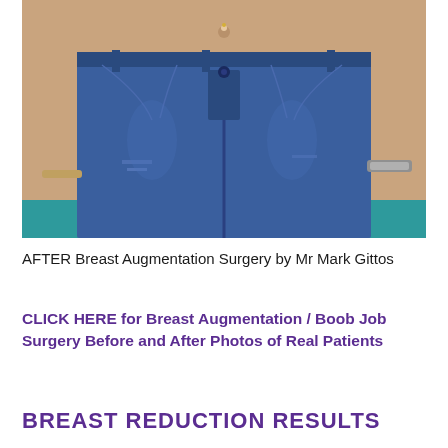[Figure (photo): A photo showing the midsection and lower body of a person wearing blue distressed jeans with a belt buckle, belly button piercing visible, a bracelet on each wrist, against a teal background. This is an AFTER photo for breast augmentation surgery.]
AFTER Breast Augmentation Surgery by Mr Mark Gittos
CLICK HERE for Breast Augmentation / Boob Job Surgery Before and After Photos of Real Patients
BREAST REDUCTION RESULTS